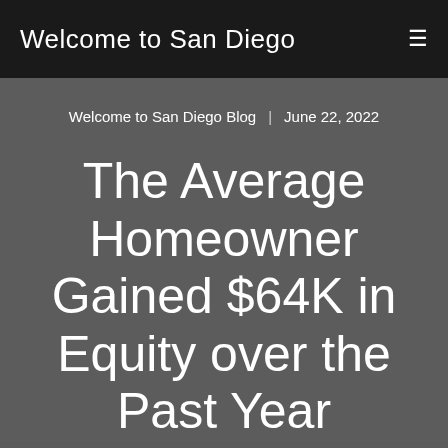Welcome to San Diego
Welcome to San Diego Blog  |  June 22, 2022
The Average Homeowner Gained $64K in Equity over the Past Year